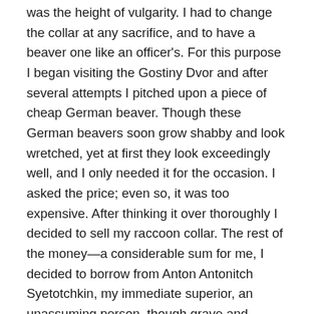was the height of vulgarity. I had to change the collar at any sacrifice, and to have a beaver one like an officer's. For this purpose I began visiting the Gostiny Dvor and after several attempts I pitched upon a piece of cheap German beaver. Though these German beavers soon grow shabby and look wretched, yet at first they look exceedingly well, and I only needed it for the occasion. I asked the price; even so, it was too expensive. After thinking it over thoroughly I decided to sell my raccoon collar. The rest of the money—a considerable sum for me, I decided to borrow from Anton Antonitch Syetotchkin, my immediate superior, an unassuming person, though grave and judicious. He never lent money to anyone, but I had, on entering the